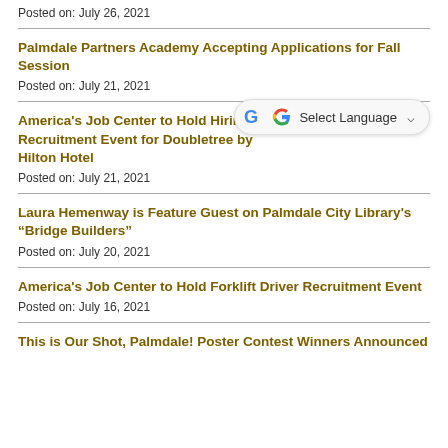Posted on: July 26, 2021
Palmdale Partners Academy Accepting Applications for Fall Session
Posted on: July 21, 2021
America's Job Center to Hold Hiring Recruitment Event for Doubletree by Hilton Hotel
Posted on: July 21, 2021
Laura Hemenway is Feature Guest on Palmdale City Library's “Bridge Builders”
Posted on: July 20, 2021
America's Job Center to Hold Forklift Driver Recruitment Event
Posted on: July 16, 2021
This is Our Shot, Palmdale! Poster Contest Winners Announced